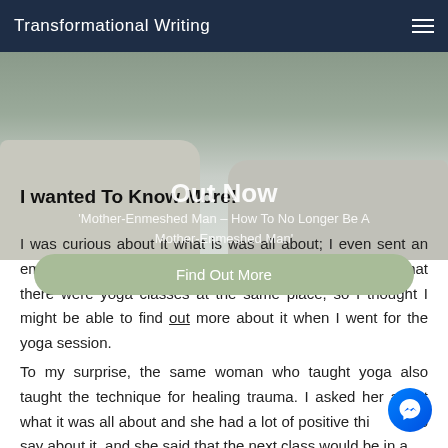Transformational Writing
[Figure (photo): Background photo of cliffs and beach scene with a person walking]
I wanted To Know More!
Out Now
'Mother-Enmeshed Man – How To No Longer Be A Mother-Enmeshed Man'
Find Out More
I was curious about it what is was all about; I even sent an email to the website asking for more details. It turned out that there were yoga classes at the same place, so I thought I might be able to find out more about it when I went for the yoga session.
To my surprise, the same woman who taught yoga also taught the technique for healing trauma. I asked her about what it was all about and she had a lot of positive things to say about it, and she said that the next class would be in a